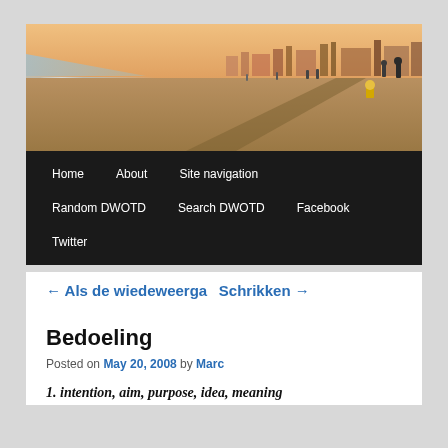[Figure (photo): Beach scene with people walking on sand, ocean waves on the left, city skyline in the background, long shadows cast by late afternoon sun, child in yellow jacket on right]
Home   About   Site navigation   Random DWOTD   Search DWOTD   Facebook   Twitter
← Als de wiedeweerga   Schrikken →
Bedoeling
Posted on May 20, 2008 by Marc
1. intention, aim, purpose, idea, meaning